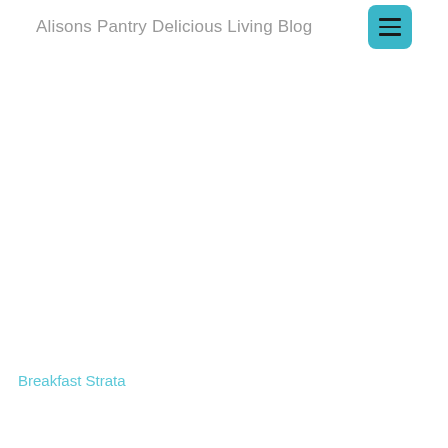Alisons Pantry Delicious Living Blog
[Figure (other): White/blank image area — blog post featured image placeholder (content not visible)]
Breakfast Strata